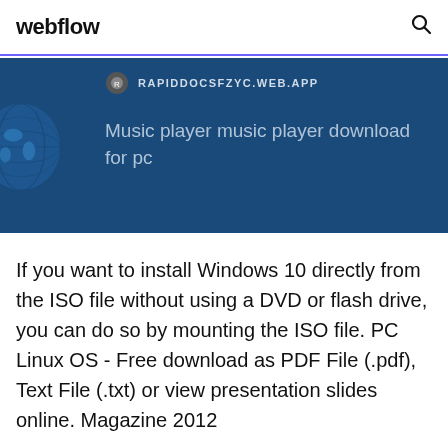webflow
[Figure (screenshot): Blue banner area showing a website URL RAPIDDOCSFZYC.WEB.APP with globe icon and text 'Music player music player download for pc']
If you want to install Windows 10 directly from the ISO file without using a DVD or flash drive, you can do so by mounting the ISO file. PC Linux OS - Free download as PDF File (.pdf), Text File (.txt) or view presentation slides online. Magazine 2012